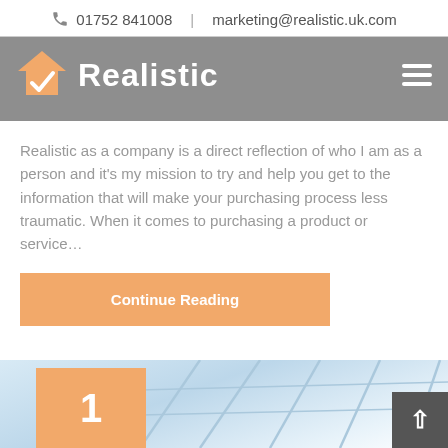📞 01752 841008  |  marketing@realistic.uk.com
[Figure (logo): Realistic company logo with house/checkmark icon and wordmark on grey navigation bar]
Realistic as a company is a direct reflection of who I am as a person and it's my mission to try and help you get to the information that will make your purchasing process less traumatic. When it comes to purchasing a product or service…
Continue Reading
[Figure (photo): Bottom strip showing a glass conservatory/skylight structure with an orange badge showing number 1 and a scroll-to-top button]